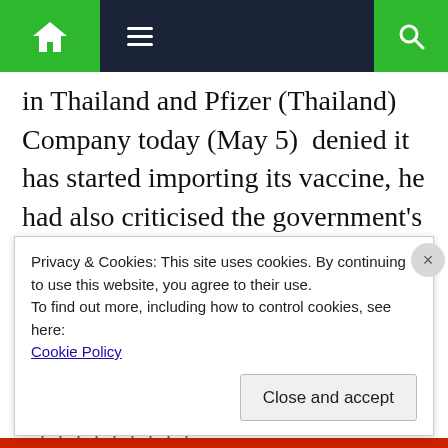Navigation bar with home, menu, and search icons
in Thailand and Pfizer (Thailand) Company today (May 5)  denied it has started importing its vaccine, he had also criticised the government's vaccine policy, Sanook.com said. Thaksin said that although vaccines are not very risky, [...]
Advertisements
[Figure (logo): Pressable logo with blue P icon and dotted loading indicator]
Privacy & Cookies: This site uses cookies. By continuing to use this website, you agree to their use.
To find out more, including how to control cookies, see here:
Cookie Policy

Close and accept